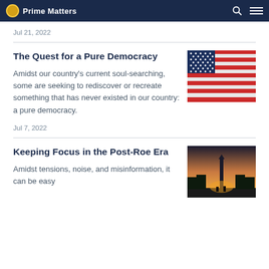Prime Matters
Jul 21, 2022
The Quest for a Pure Democracy
Amidst our country's current soul-searching, some are seeking to rediscover or recreate something that has never existed in our country: a pure democracy.
[Figure (photo): Close-up of an American flag with red, white, and blue stripes and stars]
Jul 7, 2022
Keeping Focus in the Post-Roe Era
Amidst tensions, noise, and misinformation, it can be easy
[Figure (photo): Silhouette of the Washington Monument at sunset with people walking]